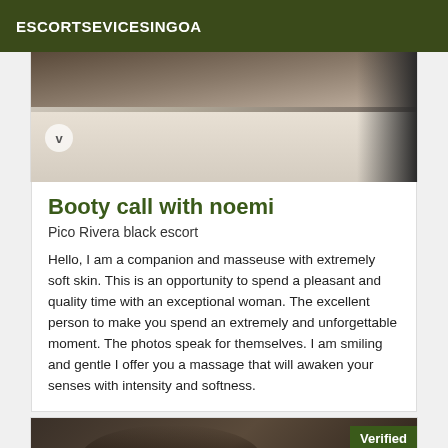ESCORTSEVICESINGOA
[Figure (photo): Top portion of a photo showing a desk/table scene with dark and light tones, with a small circular badge with 'v' in the lower left]
Booty call with noemi
Pico Rivera black escort
Hello, I am a companion and masseuse with extremely soft skin. This is an opportunity to spend a pleasant and quality time with an exceptional woman. The excellent person to make you spend an extremely and unforgettable moment. The photos speak for themselves. I am smiling and gentle I offer you a massage that will awaken your senses with intensity and softness.
[Figure (photo): Bottom photo showing a dark scene with a 'Verified' badge in the upper right corner on a dark green background]